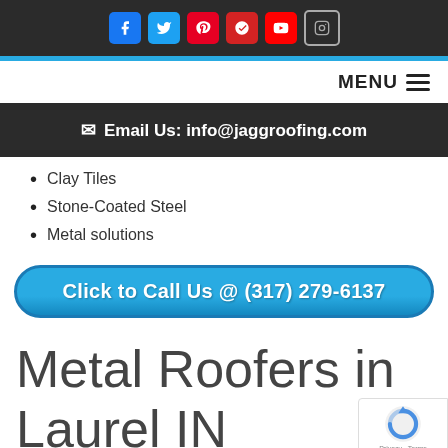Social icons: Facebook, Twitter, Pinterest, Yelp, YouTube, Instagram
MENU
Email Us: info@jaggroofing.com
Clay Tiles
Stone-Coated Steel
Metal solutions
Click to Call Us @ (317) 279-6137
Metal Roofers in Laurel IN